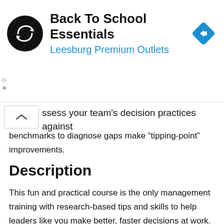[Figure (logo): Back To School Essentials ad banner with circular black logo containing a double arrow icon, title text 'Back To School Essentials', subtitle 'Leesburg Premium Outlets' in blue, and a blue diamond navigation arrow icon on the right.]
ssess your team's decision practices against benchmarks to diagnose gaps make “tipping-point” improvements.
Description
This fun and practical course is the only management training with research-based tips and skills to help leaders like you make better, faster decisions at work.
The numbers don’t lie: